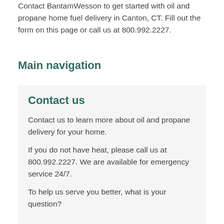Contact BantamWesson to get started with oil and propane home fuel delivery in Canton, CT. Fill out the form on this page or call us at 800.992.2227.
Main navigation
Contact us
Contact us to learn more about oil and propane delivery for your home.
If you do not have heat, please call us at 800.992.2227. We are available for emergency service 24/7.
To help us serve you better, what is your question?